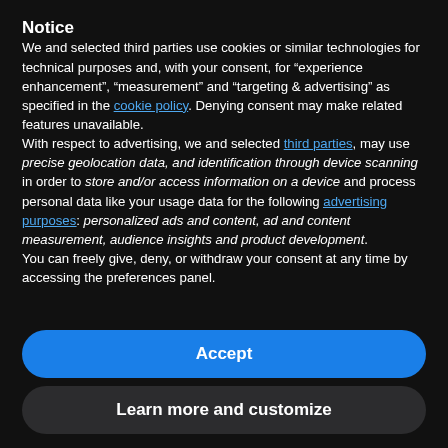Notice
We and selected third parties use cookies or similar technologies for technical purposes and, with your consent, for “experience enhancement”, “measurement” and “targeting & advertising” as specified in the cookie policy. Denying consent may make related features unavailable.
With respect to advertising, we and selected third parties, may use precise geolocation data, and identification through device scanning in order to store and/or access information on a device and process personal data like your usage data for the following advertising purposes: personalized ads and content, ad and content measurement, audience insights and product development.
You can freely give, deny, or withdraw your consent at any time by accessing the preferences panel.
Accept
Learn more and customize